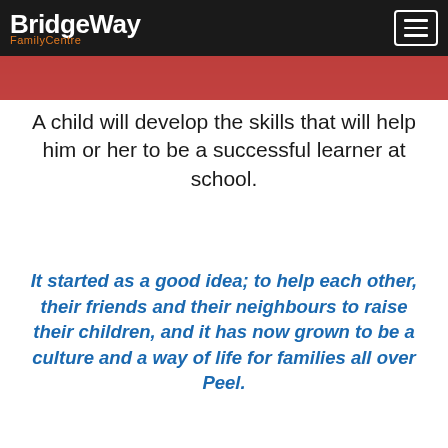BridgeWay FamilyCentre
[Figure (photo): Partial view of a colorful red-toned photo, likely showing children or family activity, cropped at the top of the page]
A child will develop the skills that will help him or her to be a successful learner at school.
It started as a good idea; to help each other, their friends and their neighbours to raise their children, and it has now grown to be a culture and a way of life for families all over Peel.